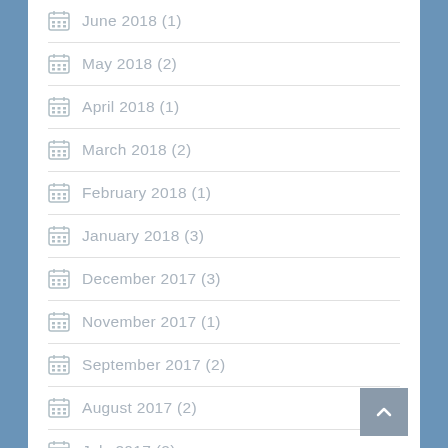June 2018 (1)
May 2018 (2)
April 2018 (1)
March 2018 (2)
February 2018 (1)
January 2018 (3)
December 2017 (3)
November 2017 (1)
September 2017 (2)
August 2017 (2)
July 2017 (2)
June 2017 (2)